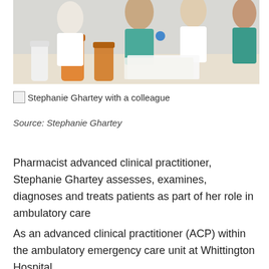[Figure (photo): Medical team meeting around a table with prescription bottles in the foreground; healthcare professionals in white coats and scrubs discussing with documents]
Stephanie Ghartey with a colleague
Source: Stephanie Ghartey
Pharmacist advanced clinical practitioner, Stephanie Ghartey assesses, examines, diagnoses and treats patients as part of her role in ambulatory care
As an advanced clinical practitioner (ACP) within the ambulatory emergency care unit at Whittington Hospital